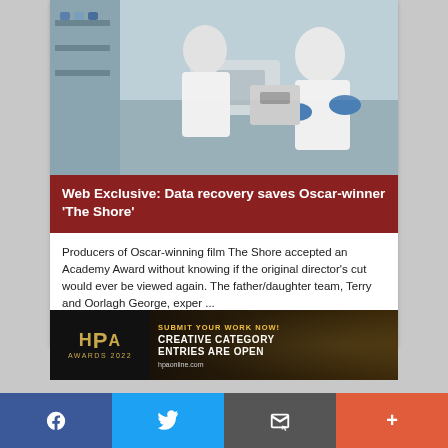[Figure (photo): Lab photo showing scientists in white coats and blue gloves working with equipment at a lab bench]
Web Exclusive: Data recovery saves Oscar-winner 'The Shore'
Producers of Oscar-winning film The Shore accepted an Academy Award without knowing if the original director's cut would ever be viewed again. The father/daughter team, Terry and Oorlagh George, exper ...
June 1, 2012
[Figure (photo): HPA Awards 2022 advertisement banner reading: SUBMIT YOUR WORK NOW! CREATIVE CATEGORY ENTRIES ARE OPEN. hpaonline.com]
f  [Twitter bird]  [Email/envelope]  +